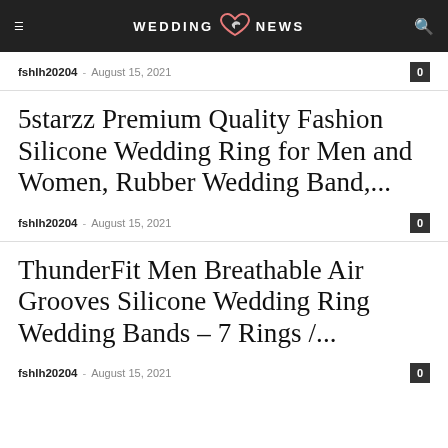WEDDING NEWS
fshlh20204 - August 15, 2021  0
5starzz Premium Quality Fashion Silicone Wedding Ring for Men and Women, Rubber Wedding Band,...
fshlh20204 - August 15, 2021  0
ThunderFit Men Breathable Air Grooves Silicone Wedding Ring Wedding Bands – 7 Rings /...
fshlh20204 - August 15, 2021  0